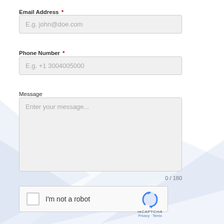Email Address *
[Figure (screenshot): Email address text input field with placeholder text 'E.g. john@doe.com']
Phone Number *
[Figure (screenshot): Phone number text input field with placeholder text 'E.g. +1 3004005000']
Message
[Figure (screenshot): Message textarea with placeholder text 'Enter your message...']
0 / 180
[Figure (screenshot): reCAPTCHA widget with checkbox labeled 'I'm not a robot' and reCAPTCHA logo with Privacy and Terms links]